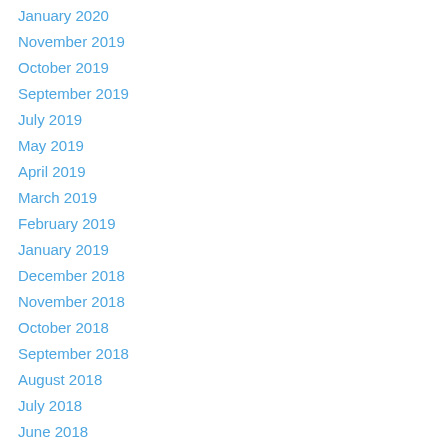January 2020
November 2019
October 2019
September 2019
July 2019
May 2019
April 2019
March 2019
February 2019
January 2019
December 2018
November 2018
October 2018
September 2018
August 2018
July 2018
June 2018
May 2018
April 2018
March 2018